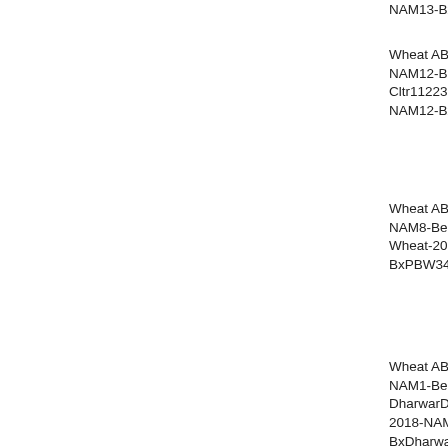NAM13-BxPI262...
Wheat ABD - Wheat-NAM12-Berkut-x-Cltr11223 - Wheat-2018-NAM12-BxCltr11...
Wheat ABD - Wheat-NAM8-Berkut-x-PBW343 - Wheat-2018-NAM8-BxPBW343_3B
Wheat ABD - Wheat-NAM1-Berkut-x-DharwarDry - Wheat-2018-NAM1-BxDharwarDry_3...
Wheat ABD - Wheat-NAM30-Berkut-x-PI278297 - Wheat-2018-NAM30-BxPI278...
BS00100045_51   locus   0
Wheat ABD - Wheat_2014_90K - Wheat_2014_90K...
Wheat ABD - Wheat-NAM18-Berkut-x-Cltr15144 - Wheat-2018-NAM18-BxCltr15...
Wheat ABD - Wheat...